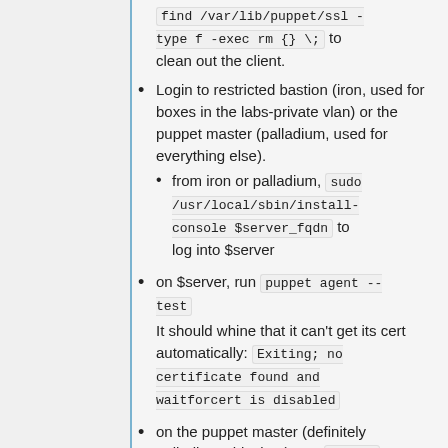find /var/lib/puppet/ssl -type f -exec rm {} \; to clean out the client.
Login to restricted bastion (iron, used for boxes in the labs-private vlan) or the puppet master (palladium, used for everything else).
from iron or palladium, sudo /usr/local/sbin/install-console $server_fqdn to log into $server
on $server, run puppet agent --test
It should whine that it can't get its cert automatically: Exiting; no certificate found and waitforcert is disabled
on the puppet master (definitely palladium, this time), run puppet